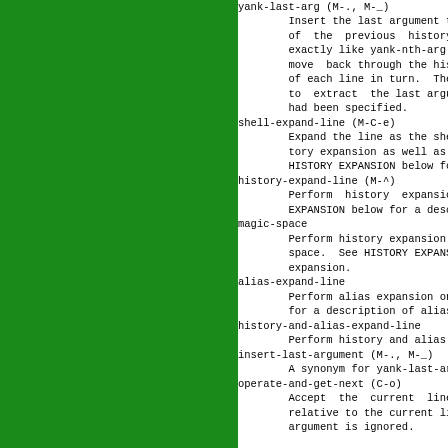yank-last-arg (M-., M-_)
        Insert the last argument to the of the previous history ent exactly like yank-nth-arg. Suc move back through the history of each line in turn. The hist to extract the last argument, had been specified.
shell-expand-line (M-C-e)
        Expand the line as the shell do tory expansion as well as all o HISTORY EXPANSION below for a c
history-expand-line (M-^)
        Perform history expansion on EXPANSION below for a descripti
magic-space
        Perform history expansion on t space. See HISTORY EXPANSION b expansion.
alias-expand-line
        Perform alias expansion on the for a description of alias expa
history-and-alias-expand-line
        Perform history and alias expan
insert-last-argument (M-., M-_)
        A synonym for yank-last-arg.
operate-and-get-next (C-o)
        Accept the current line for relative to the current line fr argument is ignored.